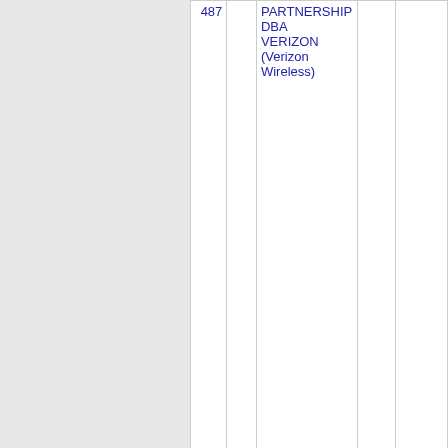| NPA-NXX-XXXX | State | Carrier | LATA | City |
| --- | --- | --- | --- | --- |
| 487 |  | PARTNERSHIP DBA VERIZON (Verizon Wireless) |  |  |
| Thousands block for 612-487 |  |  |  |  |
| 612-487-0 | MN | CELLCO PARTNERSHIP DBA VERIZON (Verizon Wireless) | 5816 | TWINC |